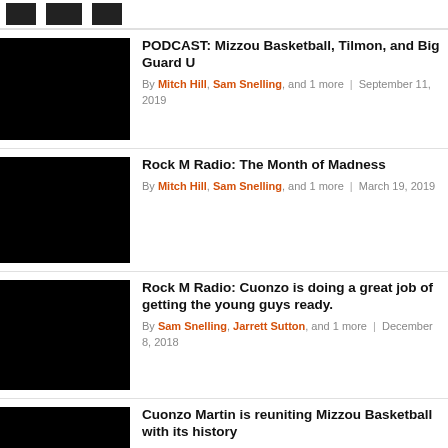[icons]
[Figure (photo): Black thumbnail image for podcast article]
PODCAST: Mizzou Basketball, Tilmon, and Big Guard U
By Mitch Hill, Sam Snelling, and 1 more | September 11, 2019
[Figure (photo): Black thumbnail image for Rock M Radio article]
Rock M Radio: The Month of Madness
By Mitch Hill, Sam Snelling, and 1 more | March 19, 2019
[Figure (photo): Black thumbnail image for Rock M Radio Cuonzo article]
Rock M Radio: Cuonzo is doing a great job of getting the young guys ready.
By Sam Snelling, Jarrett Sutton, and 1 more | December 8, 2018
[Figure (photo): Black thumbnail image for Cuonzo Martin article]
Cuonzo Martin is reuniting Mizzou Basketball with its history
By Mitch Hill, Sam Snelling, and 1 more | September 26, 2018